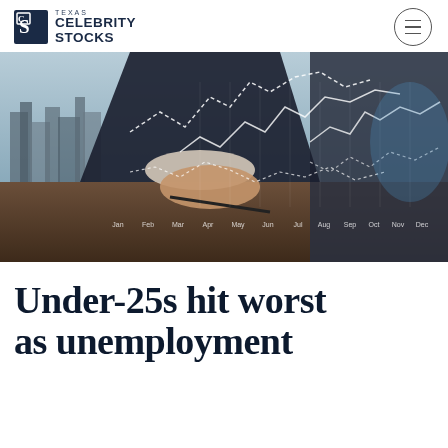Texas Celebrity Stocks
[Figure (photo): A businessman's hand resting on a desk with digital financial charts and line graphs overlaid on a cityscape background, with month labels Jan through Dec along the bottom axis.]
Under-25s hit worst as unemployment